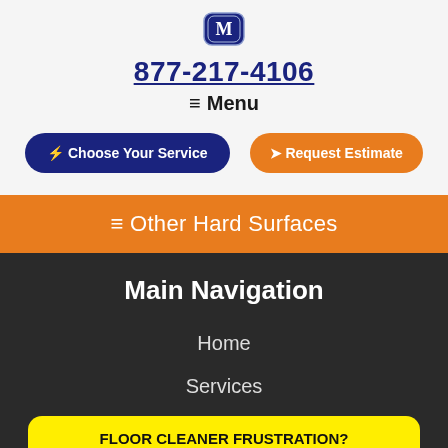[Figure (logo): M letter badge/crest logo in dark navy blue with shield border]
877-217-4106
≡ Menu
⚡ Choose Your Service
➤ Request Estimate
≡ Other Hard Surfaces
Main Navigation
Home
Services
FLOOR CLEANER FRUSTRATION?
PERHAPS IT'S DAMAGED, NOT DIRTY
SEE IMAGES HERE
Gallery